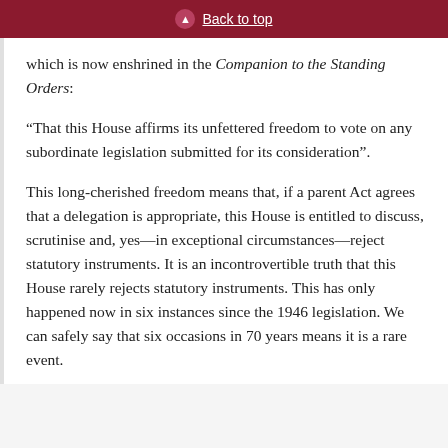Back to top
which is now enshrined in the Companion to the Standing Orders:
“That this House affirms its unfettered freedom to vote on any subordinate legislation submitted for its consideration”.
This long-cherished freedom means that, if a parent Act agrees that a delegation is appropriate, this House is entitled to discuss, scrutinise and, yes—in exceptional circumstances—reject statutory instruments. It is an incontrovertible truth that this House rarely rejects statutory instruments. This has only happened now in six instances since the 1946 legislation. We can safely say that six occasions in 70 years means it is a rare event.